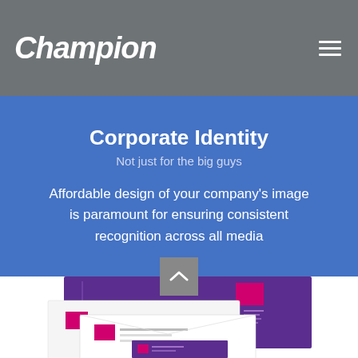Champion
Corporate Identity
Not just for the big guys
Affordable design of your company's image is paramount for ensuring consistent recognition across all media
[Figure (photo): Corporate identity stationery mockup showing purple folder, envelopes, business card with pink/magenta logo blocks]